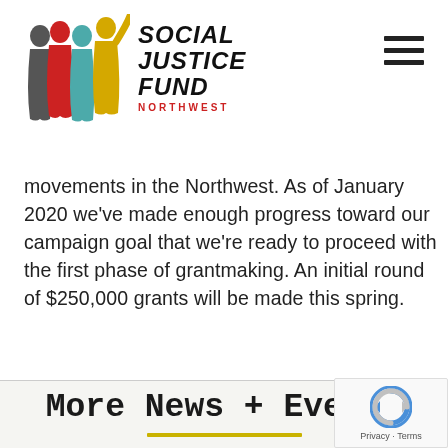[Figure (logo): Social Justice Fund Northwest logo with colorful figures and hand-drawn text]
movements in the Northwest. As of January 2020 we've made enough progress toward our campaign goal that we're ready to proceed with the first phase of grantmaking. An initial round of $250,000 grants will be made this spring.
More News + Events